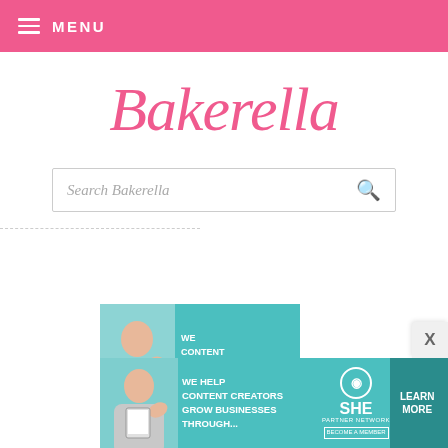MENU
[Figure (logo): Bakerella cursive pink logo]
[Figure (screenshot): Search box with placeholder text 'Search Bakerella' and search icon]
[Figure (infographic): Partial SHE Media partner network advertisement banner - WE HELP CONTENT CREATORS GROW BUSINESSES THROUGH...]
[Figure (infographic): Bottom SHE Media ad banner: WE HELP CONTENT CREATORS GROW BUSINESSES THROUGH... with LEARN MORE button]